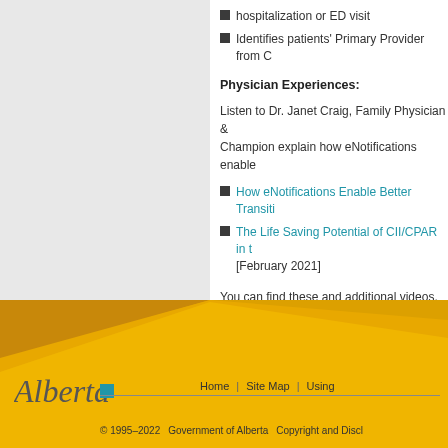hospitalization or ED visit
Identifies patients' Primary Provider from C...
Physician Experiences:
Listen to Dr. Janet Craig, Family Physician & Champion explain how eNotifications enable...
How eNotifications Enable Better Transitio...
The Life Saving Potential of CII/CPAR in t... [February 2021]
You can find these and additional videos, pod... physician experiences using CII/CPAR on the...
Home | Site Map | Using... © 1995–2022 Government of Alberta Copyright and Discl...